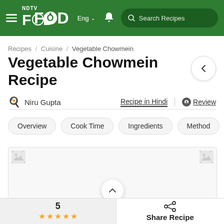NDTV Food | Eng | Search Recipes
Recipes / Cuisine / Vegetable Chowmein
Vegetable Chowmein Recipe
Niru Gupta | Recipe in Hindi | Review
Overview | Cook Time | Ingredients | Method | Notes
[Figure (screenshot): Image placeholder area with broken image icons on left and right, and a scroll-up chevron button at the bottom center]
5 ★★★★★ | Share Recipe